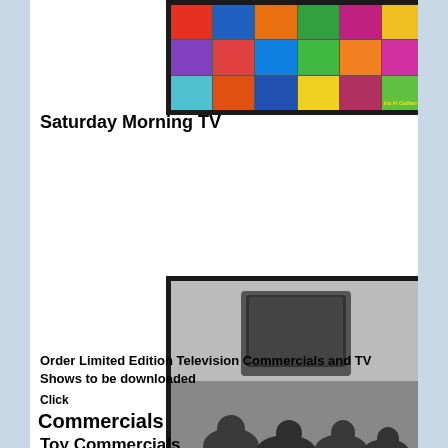[Figure (illustration): Colorful grid of vintage cereal boxes with text 'Ira H Gallen' at bottom right]
Saturday Morning TV
[Figure (photo): Black and white photo of children sitting on floor watching a television set]
Order Limited Edition Television Commercials and TV Shows to be downloaded
Click
Commercials
Toy Commercials
[Figure (photo): Partially visible image at bottom of page]